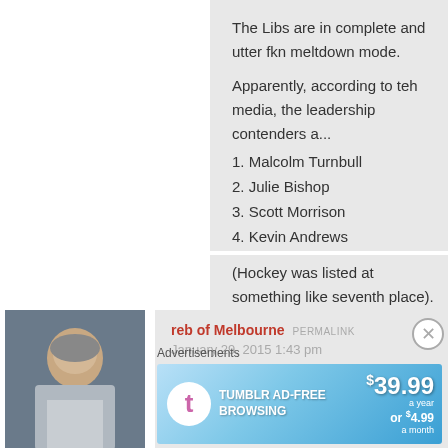The Libs are in complete and utter fkn meltdown mode.
Apparently, according to teh media, the leadership contenders a...
1. Malcolm Turnbull
2. Julie Bishop
3. Scott Morrison
4. Kevin Andrews
(Hockey was listed at something like seventh place).
[Figure (photo): Avatar photo of an older man]
reb of Melbourne  PERMALINK
January 29, 2015 1:43 pm
""Punters believe it is more likely than not Prime Minister Tony... leadership ballot before the next election.""
Advertisements
[Figure (infographic): Tumblr Ad-Free Browsing advertisement banner: $39.99 a year or $4.99 a month]